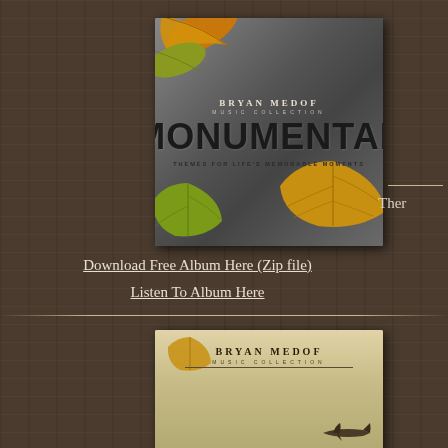[Figure (illustration): Album cover for Bryan Medof Music Collection 'Monumental - Themes for Life's Memorable Moments' with autumn leaves on stone/metal background]
Download Free Album Here (Zip file)
Listen To Album Here
Ther
[Figure (illustration): Second album cover for Bryan Medof Music Collection, partially visible, with parchment/tan background, leaves, and airplane silhouette]